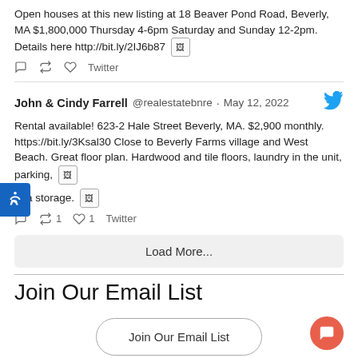Open houses at this new listing at 18 Beaver Pond Road, Beverly, MA $1,800,000 Thursday 4-6pm Saturday and Sunday 12-2pm. Details here http://bit.ly/2IJ6b87
Twitter (reply, retweet, like actions)
John & Cindy Farrell @realestatebnre · May 12, 2022
Rental available! 623-2 Hale Street Beverly, MA. $2,900 monthly. https://bit.ly/3Ksal30 Close to Beverly Farms village and West Beach. Great floor plan. Hardwood and tile floors, laundry in the unit, parking, xtra storage.
Twitter 1 retweet, 1 like
Load More...
Join Our Email List
Join Our Email List